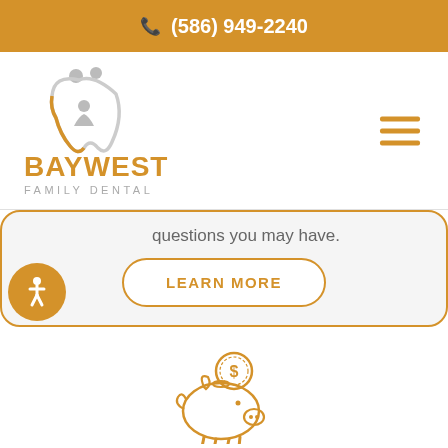(586) 949-2240
[Figure (logo): Baywest Family Dental logo with tooth and people icon in orange and gray]
questions you may have.
LEARN MORE
[Figure (illustration): Piggy bank with dollar sign coin illustration in gold/orange outline style]